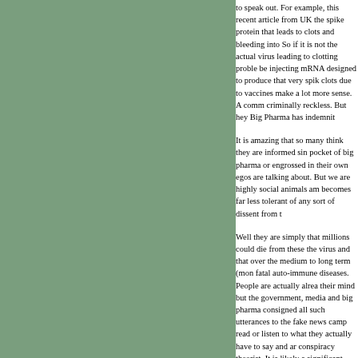to speak out. For example, this recent article from UK the spike protein that leads to clots and bleeding into So if it is not the actual virus leading to clotting proble be injecting mRNA designed to produce that very spik clots due to vaccines make a lot more sense. A comm criminally reckless. But hey Big Pharma has indemnit
It is amazing that so many think they are informed sin pocket of big pharma or engrossed in their own egos are talking about. But we are highly social animals am becomes far less tolerant of any sort of dissent from t
Well they are simply that millions could die from these the virus and that over the medium to long term (mon fatal auto-immune diseases. People are actually alrea their mind but the government, media and big pharma consigned all such utterances to the fake news camp read or listen to what they actually have to say and ar conspiracy theorist. It is likely a significant fraction of not taking it, in the eyes of the media means you have back to normal" which is actually the least likely thing and a desire to holiday abroad again are getting the ja misdemeanors, they can clearly see they would be a in to the coercion. What all this means is if you know by any measure for you don't have the guts to stand u culture. And denial doesn't really clear your consciene give into the coercion because of social fear and fear years, might turn on them.
All life strives to pass on it's genes. That is the very b plants, bacteria and viruses. If a new viruses kills the